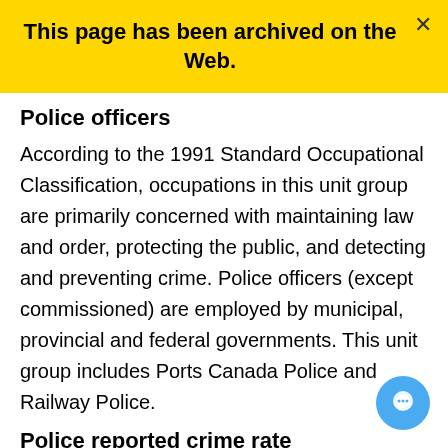This page has been archived on the Web.
Police officers
According to the 1991 Standard Occupational Classification, occupations in this unit group are primarily concerned with maintaining law and order, protecting the public, and detecting and preventing crime. Police officers (except commissioned) are employed by municipal, provincial and federal governments. This unit group includes Ports Canada Police and Railway Police.
Police reported crime rate